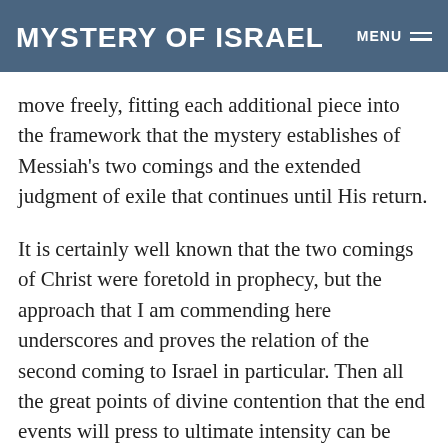Mystery of Israel | MENU
to the fall and rising again of Israel. As I said it which one move freely, fitting each additional piece into the framework that the mystery establishes of Messiah’s two comings and the extended judgment of exile that continues until His return.
It is certainly well known that the two comings of Christ were foretold in prophecy, but the approach that I am commending here underscores and proves the relation of the second coming to Israel in particular. Then all the great points of divine contention that the end events will press to ultimate intensity can be considered in their proper context. This is something much more than the mere acknowledgement of prophetic fulfillment. It raises all the great issues of God that surface